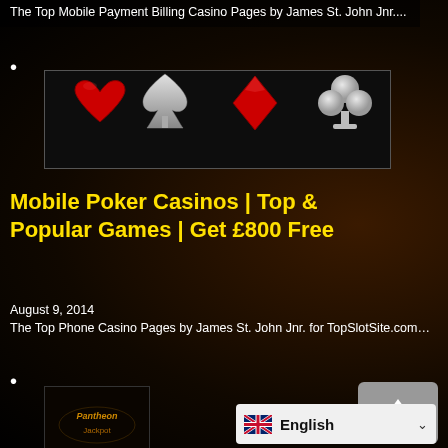The Top Mobile Payment Billing Casino Pages by James St. John Jnr....
•
[Figure (illustration): Four playing card suit symbols on black background: red heart, silver spade, red diamond, silver club]
Mobile Poker Casinos | Top & Popular Games | Get £800 Free
August 9, 2014
The Top Phone Casino Pages by James St. John Jnr. for TopSlotSite.com…
•
[Figure (screenshot): Partially visible casino game thumbnail at bottom left]
[Figure (other): Scroll to top button with upward arrow]
English (language selector dropdown)